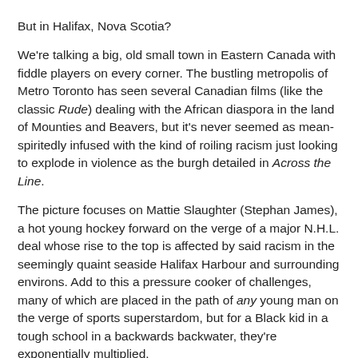But in Halifax, Nova Scotia?
We're talking a big, old small town in Eastern Canada with fiddle players on every corner. The bustling metropolis of Metro Toronto has seen several Canadian films (like the classic Rude) dealing with the African diaspora in the land of Mounties and Beavers, but it's never seemed as mean-spiritedly infused with the kind of roiling racism just looking to explode in violence as the burgh detailed in Across the Line.
The picture focuses on Mattie Slaughter (Stephan James), a hot young hockey forward on the verge of a major N.H.L. deal whose rise to the top is affected by said racism in the seemingly quaint seaside Halifax Harbour and surrounding environs. Add to this a pressure cooker of challenges, many of which are placed in the path of any young man on the verge of sports superstardom, but for a Black kid in a tough school in a backwards backwater, they're exponentially multiplied.
Floyd Kane's script nicely balances a group of engaging